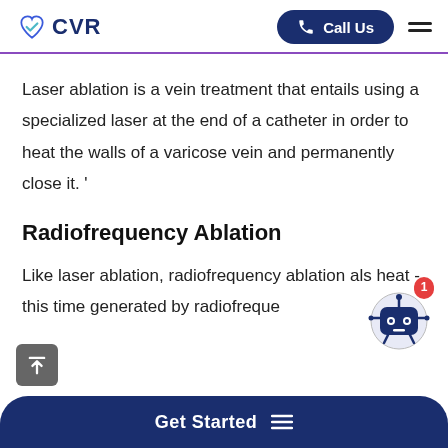CVR — Call Us
Laser ablation is a vein treatment that entails using a specialized laser at the end of a catheter in order to heat the walls of a varicose vein and permanently close it. '
Radiofrequency Ablation
Like laser ablation, radiofrequency ablation also uses heat - this time generated by radiofrequency...
[Figure (other): Robot chatbot icon with red notification badge showing 1]
Get Started ≡